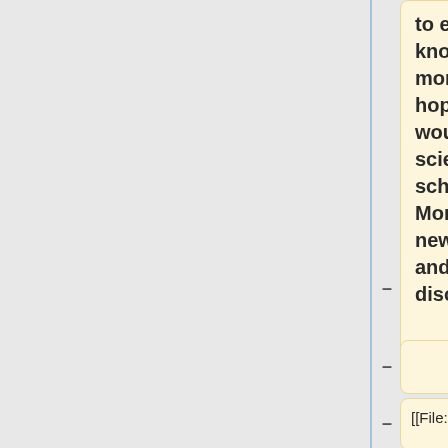to engulf more knowledge and collect more samples in the hope that someday we would be as famous in science as the high school cheerleader. More places to see, new people to befriend and new species to discover.
[[File:thetravellingsister.jpg]]
----